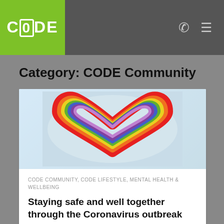CODE Community
Category: CODE Community
[Figure (illustration): Rainbow-colored heart illustration drawn with colored pencils on a light blue watercolor background]
CODE COMMUNITY, CODE LIFESTYLE, MENTAL HEALTH & WELLBEING
Staying safe and well together through the Coronavirus outbreak